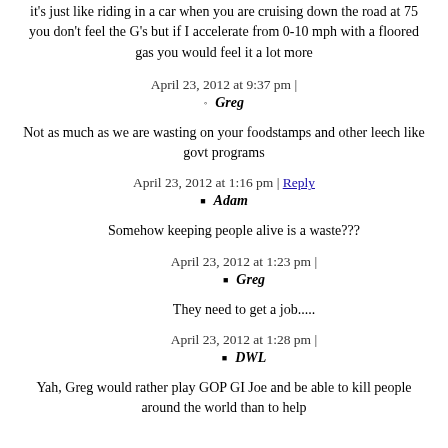it's just like riding in a car when you are cruising down the road at 75 you don't feel the G's but if I accelerate from 0-10 mph with a floored gas you would feel it a lot more
April 23, 2012 at 9:37 pm | Greg
Not as much as we are wasting on your foodstamps and other leech like govt programs
April 23, 2012 at 1:16 pm | Reply
Adam
Somehow keeping people alive is a waste???
April 23, 2012 at 1:23 pm | Greg
They need to get a job.....
April 23, 2012 at 1:28 pm | DWL
Yah, Greg would rather play GOP GI Joe and be able to kill people around the world than to help